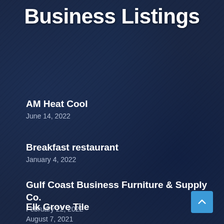Business Listings
AM Heat Cool
June 14, 2022
Breakfast restaurant
January 4, 2022
Gulf Coast Business Furniture & Supply Co.
February 22, 2022
Elk Grove Tile
August 7, 2021